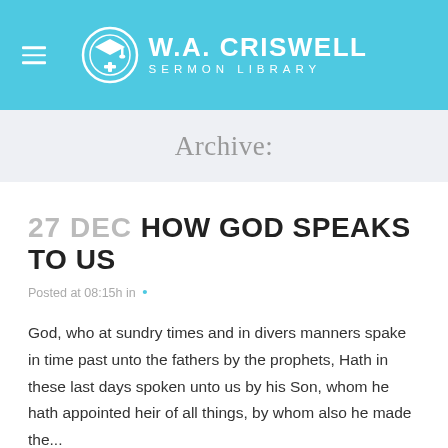[Figure (logo): W.A. Criswell Sermon Library logo with hamburger menu icon on teal/cyan header background]
Archive:
27 DEC HOW GOD SPEAKS TO US
Posted at 08:15h in ·
God, who at sundry times and in divers manners spake in time past unto the fathers by the prophets, Hath in these last days spoken unto us by his Son, whom he hath appointed heir of all things, by whom also he made the...